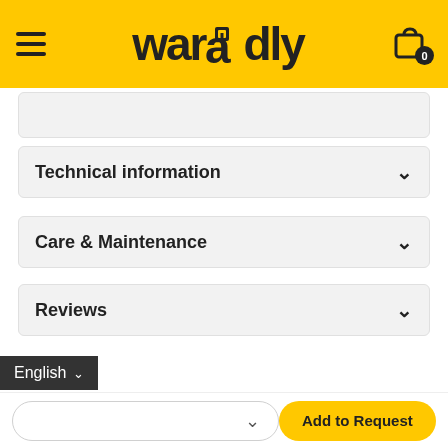waradly — navigation header with hamburger menu and cart icon (0 items)
Technical information
Care & Maintenance
Reviews
English
Add to Request